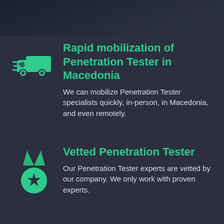[Figure (illustration): Dark blue/navy gradient background image at top of page]
[Figure (illustration): Green delivery truck icon with speed lines]
Rapid mobilization of Penetration Tester in Macedonia
We can mobilize Penetration Tester specialists quickly, in-person, in Macedonia, and even remotely.
[Figure (illustration): Green medal/award icon with star]
Vetted Penetration Tester
Our Penetration Tester experts are vetted by our company. We only work with proven experts.